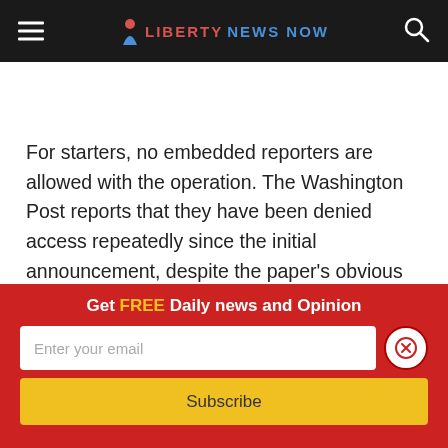Liberty News Now
For starters, no embedded reporters are allowed with the operation. The Washington Post reports that they have been denied access repeatedly since the initial announcement, despite the paper's obvious connections in our nation's capital. The Post is, of course, worried about the freedom of the press and made an eloquent case, noting the positive
Get FREE Daily news and Opinion
Enter your email
Subscribe